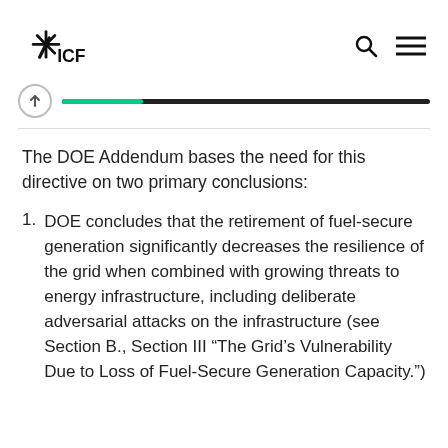ICF
The DOE Addendum bases the need for this directive on two primary conclusions:
DOE concludes that the retirement of fuel-secure generation significantly decreases the resilience of the grid when combined with growing threats to energy infrastructure, including deliberate adversarial attacks on the infrastructure (see Section B., Section III “The Grid’s Vulnerability Due to Loss of Fuel-Secure Generation Capacity.”)